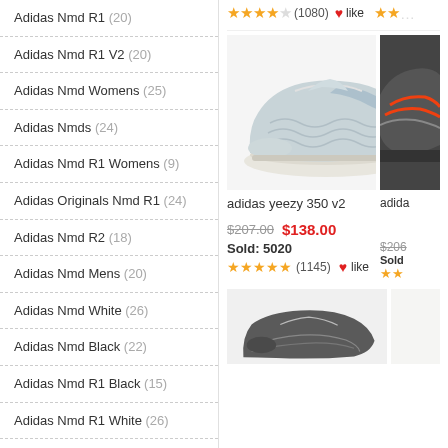Adidas Nmd R1 (20)
Adidas Nmd R1 V2 (20)
Adidas Nmd Womens (25)
Adidas Nmds (24)
Adidas Nmd R1 Womens (9)
Adidas Originals Nmd R1 (24)
Adidas Nmd R2 (18)
Adidas Nmd Mens (20)
Adidas Nmd White (26)
Adidas Nmd Black (22)
Adidas Nmd R1 Black (15)
Adidas Nmd R1 White (26)
Adidas Nmd R1 Mens (27)
Adidas Nmd Human Race (22)
Adidas Nmd Sale (15)
Adidas Hu Nmd (26)
[Figure (photo): Adidas Yeezy 350 V2 sneaker in light blue/grey colorway, side view on white background]
adidas yeezy 350 v2
$207.00  $138.00  Sold: 5020  ★★★★★(1145)  like
[Figure (photo): Partial view of another Adidas sneaker in dark grey/charcoal colorway]